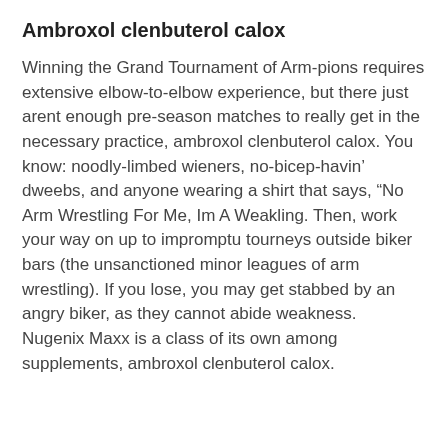Ambroxol clenbuterol calox
Winning the Grand Tournament of Arm-pions requires extensive elbow-to-elbow experience, but there just arent enough pre-season matches to really get in the necessary practice, ambroxol clenbuterol calox. You know: noodly-limbed wieners, no-bicep-havin’ dweebs, and anyone wearing a shirt that says, “No Arm Wrestling For Me, Im A Weakling. Then, work your way on up to impromptu tourneys outside biker bars (the unsanctioned minor leagues of arm wrestling). If you lose, you may get stabbed by an angry biker, as they cannot abide weakness.
Nugenix Maxx is a class of its own among supplements, ambroxol clenbuterol calox.